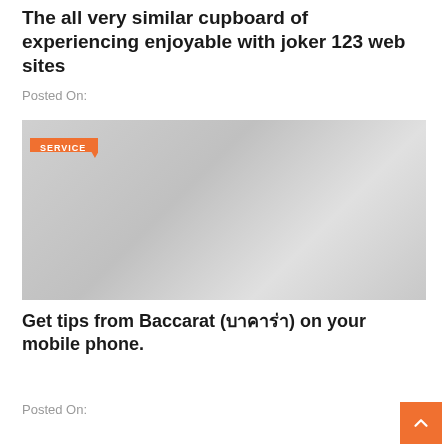The all very similar cupboard of experiencing enjoyable with joker 123 web sites
Posted On:
[Figure (photo): Gray placeholder image with orange SERVICE badge in top-left corner]
Get tips from Baccarat (บาคาร่า) on your mobile phone.
Posted On: